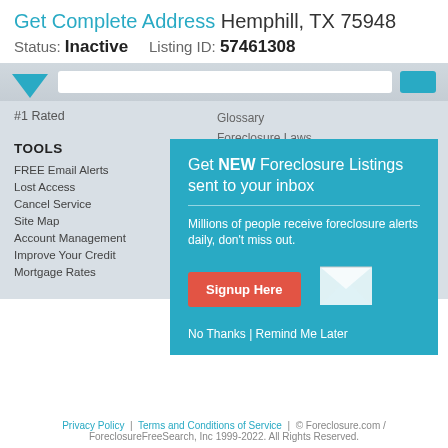Get Complete Address Hemphill, TX 75948
Status: Inactive    Listing ID: 57461308
#1 Rated
Glossary
Foreclosure Laws
Foreclosure Articles
TOOLS
FREE Email Alerts
Lost Access
Cancel Service
Site Map
Account Management
Improve Your Credit
Mortgage Rates
Get NEW Foreclosure Listings sent to your inbox
Millions of people receive foreclosure alerts daily, don't miss out.
Signup Here
No Thanks | Remind Me Later
Privacy Policy | Terms and Conditions of Service | © Foreclosure.com / ForeclosureFreeSearch, Inc 1999-2022. All Rights Reserved.